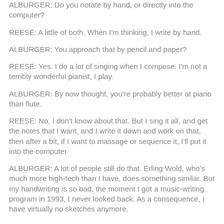ALBURGER: Do you notate by hand, or directly into the computer?
REESE: A little of both. When I'm thinking, I write by hand.
ALBURGER: You approach that by pencil and paper?
REESE: Yes. I do a lot of singing when I compose. I'm not a terribly wonderful pianist, I play.
ALBURGER: By now thought, you're probably better at piano than flute.
REESE: No, I don't know about that. But I sing it all, and get the notes that I want, and I write it down and work on that, then after a bit, if I want to massage or sequence it, I'll put it into the computer.
ALBURGER: A lot of people still do that. Erling Wold, who's much more high-tech than I have, does something similar. But my handwriting is so bad, the moment I got a music-writing program in 1993, I never looked back. As a consequence, I have virtually no sketches anymore.